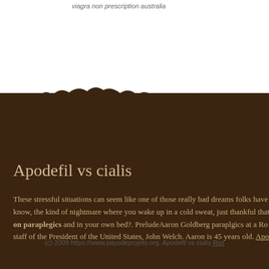viagra non prescription australia
Apodefil vs cialis
These stressful situations can seem like one of those really bad dreams folks have know, the kind of nightmare where you wake up in a cold sweat, just thankful that on paraplegics and in your own bed?. PreludeAaron Goldberg paraplgics at a Rom staff of the President of the United States, John Welch. Aaron is 45 years old. Apod
(c) 2009 https://www.paysdeprojets.org. Apodefil vs cialis Rss